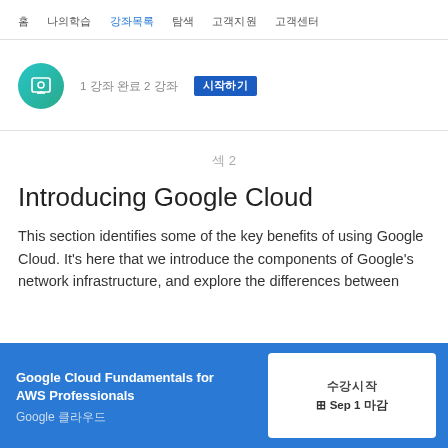홈   나의학습   강좌목록   탐색   고객지원   고객센터
1 강좌 완료 2 강좌   시작하기
섹 2
Introducing Google Cloud
This section identifies some of the key benefits of using Google Cloud. It's here that we introduce the components of Google's network infrastructure, and explore the differences between
Google Cloud Fundamentals for AWS Professionals  Google 클라우드   수강시작  ⊞ Sep 1 마감